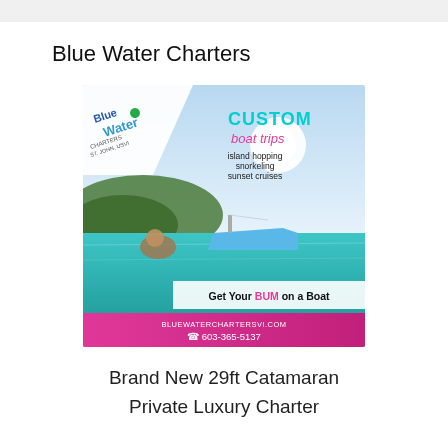Blue Water Charters
[Figure (photo): Blue Water Charters advertisement showing a catamaran boat near a tropical beach with turquoise water. Text overlay: CUSTOM boat trips, island hopping, snorkeling, sunset cruises, Get Your BUM on a Boat, bluewaterchartersvi.com, 603-365-5137]
Brand New 29ft Catamaran
Private Luxury Charter